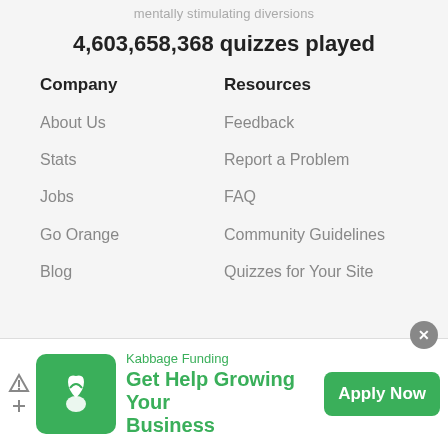mentally stimulating diversions
4,603,658,368 quizzes played
Company
About Us
Stats
Jobs
Go Orange
Blog
Resources
Feedback
Report a Problem
FAQ
Community Guidelines
Quizzes for Your Site
[Figure (infographic): Advertisement banner for Kabbage Funding with green logo, text 'Get Help Growing Your Business', and 'Apply Now' button]